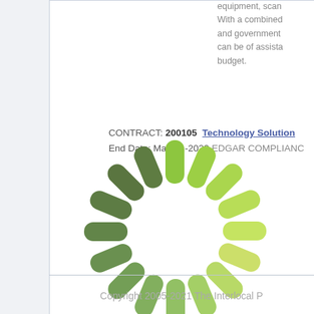equipment, scanning. With a combined and government can be of assistance budget.
CONTRACT: 200105  Technology Solution End Date: May-31-2023 EDGAR COMPLIANCE
[Figure (other): A loading spinner graphic made of rounded rectangular bars arranged in a circle, green/gray gradient color indicating a loading state.]
Copyright 2005-2021 The Interlocal P